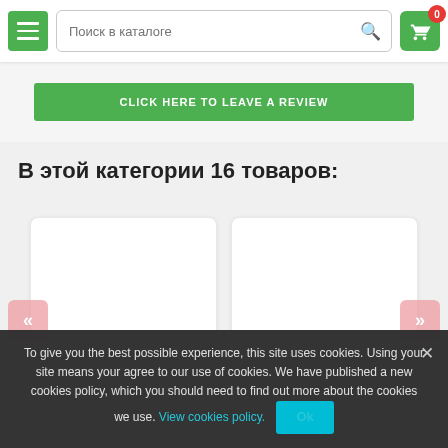[Figure (screenshot): Navigation header with hamburger menu button (green), search field labeled 'Поиск в каталоге', and cart button (green) with badge showing 0]
[Figure (screenshot): Green button with text 'CLICK HERE TO LEAVE A REVIEW']
В этой категории 16 товаров:
[Figure (screenshot): Two white product card placeholders side by side with pink navigation arrows on left and right]
To give you the best possible experience, this site uses cookies. Using your site means your agree to our use of cookies. We have published a new cookies policy, which you should need to find out more about the cookies we use. View cookies policy. Ok